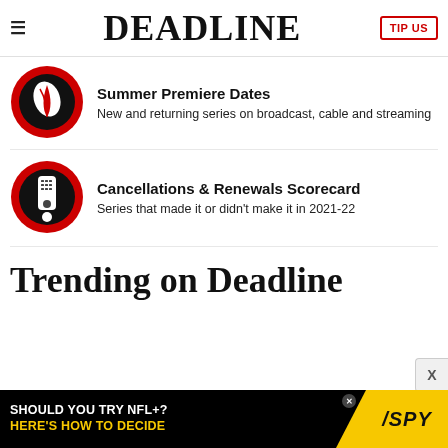DEADLINE
[Figure (illustration): Red and black circle icon with a white leaf/feather shape inside — Summer Premiere Dates promo icon]
Summer Premiere Dates
New and returning series on broadcast, cable and streaming
[Figure (illustration): Red and black circle icon with a white TV remote control inside — Cancellations & Renewals Scorecard promo icon]
Cancellations & Renewals Scorecard
Series that made it or didn't make it in 2021-22
Trending on Deadline
[Figure (infographic): Advertisement banner: black background with white text 'SHOULD YOU TRY NFL+?' and yellow text 'HERE'S HOW TO DECIDE', alongside a yellow SPY logo block on the right.]